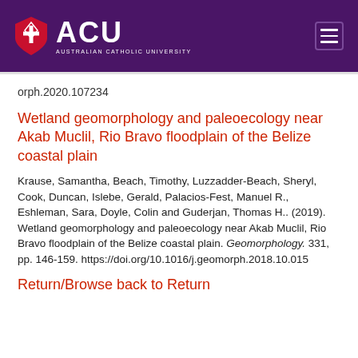ACU - Australian Catholic University
orph.2020.107234
Wetland geomorphology and paleoecology near Akab Muclil, Rio Bravo floodplain of the Belize coastal plain
Krause, Samantha, Beach, Timothy, Luzzadder-Beach, Sheryl, Cook, Duncan, Islebe, Gerald, Palacios-Fest, Manuel R., Eshleman, Sara, Doyle, Colin and Guderjan, Thomas H.. (2019). Wetland geomorphology and paleoecology near Akab Muclil, Rio Bravo floodplain of the Belize coastal plain. Geomorphology. 331, pp. 146-159. https://doi.org/10.1016/j.geomorph.2018.10.015
Return/Browse back to Return